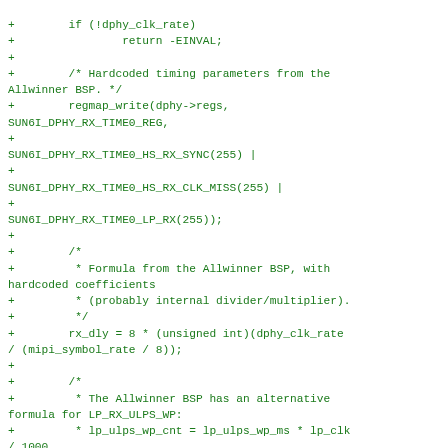[Figure (other): Source code diff snippet in green monospace font showing C code for DPHY timing register configuration including regmap_write calls, rx_dly formula calculation, and comments about Allwinner BSP hardcoded timing parameters and LP_RX_ULPS_WP formula.]